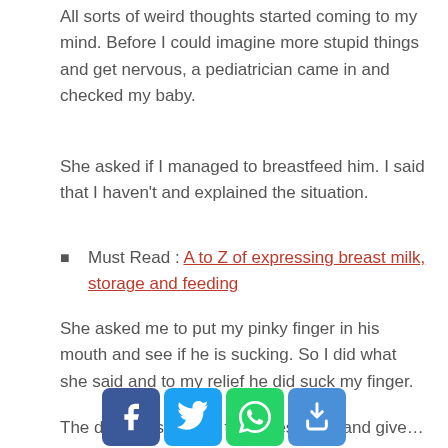All sorts of weird thoughts started coming to my mind. Before I could imagine more stupid things and get nervous, a pediatrician came in and checked my baby.
She asked if I managed to breastfeed him. I said that I haven't and explained the situation.
Must Read : A to Z of expressing breast milk, storage and feeding
She asked me to put my pinky finger in his mouth and see if he is sucking. So I did what she said and to my relief he did suck my finger.
The doctor asked me to express milk and give it to him. I tried, but in vain.